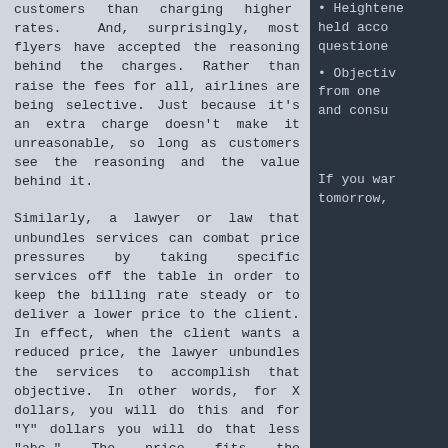customers than charging higher rates. And, surprisingly, most flyers have accepted the reasoning behind the charges. Rather than raise the fees for all, airlines are being selective. Just because it's an extra charge doesn't make it unreasonable, so long as customers see the reasoning and the value behind it.
Similarly, a lawyer or law that unbundles services can combat price pressures by taking specific services off the table in order to keep the billing rate steady or to deliver a lower price to the client. In effect, when the client wants a reduced price, the lawyer unbundles the services to accomplish that objective. In other words, for X dollars, you will do this and for "Y" dollars you will do that less "abc." The price fits the appropriate level based on the service to be delivered.
And easy to understand example is response time. For example, if returned phone calls within 2 hours are part of your regular hourly rate, take that response time off the table if you lower your hourly rate in response to your client's request. Tell the client that your response time will be 24, or even 48, hours. The point will be clear: you're not lowering
• Heightened accountability — held acco questionе
• Objectiv from one and consu
If you war tomorrow,